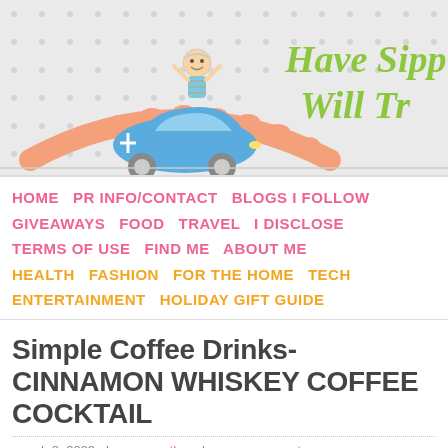[Figure (illustration): Blog header banner with polka dot background, cartoon illustration of a child riding in a blue toy car over an orange bridge/arch, with green cursive blog title text 'Have Sippy Will Travel' partially visible on the right side]
HOME  PR INFO/CONTACT  BLOGS I FOLLOW
GIVEAWAYS  FOOD  TRAVEL  I DISCLOSE
TERMS OF USE  FIND ME  ABOUT ME
HEALTH  FASHION  FOR THE HOME  TECH
ENTERTAINMENT  HOLIDAY GIFT GUIDE
Simple Coffee Drinks- CINNAMON WHISKEY COFFEE COCKTAIL
march 8, 2022 by samantha   leave a comment